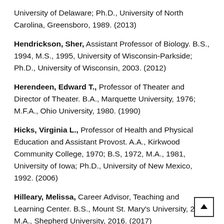University of Delaware; Ph.D., University of North Carolina, Greensboro, 1989. (2013)
Hendrickson, Sher, Assistant Professor of Biology. B.S., 1994, M.S., 1995, University of Wisconsin-Parkside; Ph.D., University of Wisconsin, 2003. (2012)
Herendeen, Edward T., Professor of Theater and Director of Theater. B.A., Marquette University, 1976; M.F.A., Ohio University, 1980. (1990)
Hicks, Virginia L., Professor of Health and Physical Education and Assistant Provost. A.A., Kirkwood Community College, 1970; B.S, 1972, M.A., 1981, University of Iowa; Ph.D., University of New Mexico, 1992. (2006)
Hilleary, Melissa, Career Advisor, Teaching and Learning Center. B.S., Mount St. Mary's University, 2014; M.A., Shepherd University, 2016. (2017)
Hippensteel, Scott, Associate Professor of Music/Director of Bands and Graduate M.M.M.E. Program Coordinator. B.M., Indiana